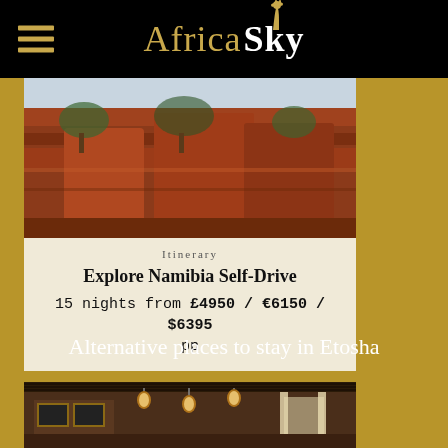Africa Sky
[Figure (photo): Red rock formations and sparse vegetation, landscape photo of Namibia]
Itinerary
Explore Namibia Self-Drive
15 nights from £4950 / €6150 / $6395 pp
Alternative places to stay in Etosha
[Figure (photo): Interior of a lodge with hanging lanterns, framed artwork on walls, thatched ceiling]